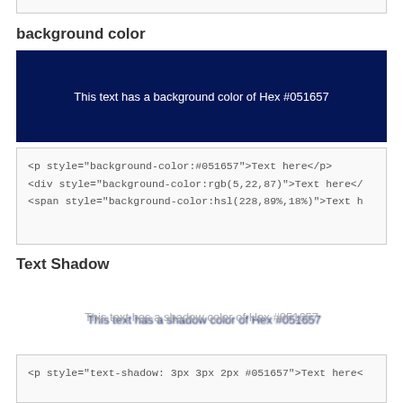[Figure (other): Top border of a box from previous section]
background color
[Figure (other): Dark navy blue box with white text: This text has a background color of Hex #051657]
<p style="background-color:#051657">Text here</p>
<div style="background-color:rgb(5,22,87)">Text here</
<span style="background-color:hsl(228,89%,18%)">Text h
Text Shadow
This text has a shadow color of Hex #051657
<p style="text-shadow: 3px 3px 2px #051657">Text here<